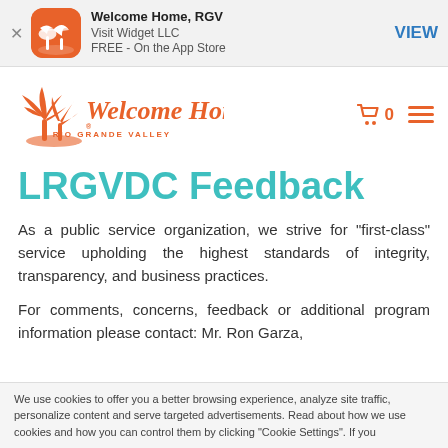[Figure (screenshot): App store banner for 'Welcome Home, RGV' by Visit Widget LLC, FREE on the App Store, with orange app icon showing palm trees, and a VIEW button]
[Figure (logo): Welcome Home Rio Grande Valley logo with orange palm trees silhouette and stylized cursive text]
LRGVDC Feedback
As a public service organization, we strive for "first-class" service upholding the highest standards of integrity, transparency, and business practices.
For comments, concerns, feedback or additional program information please contact: Mr. Ron Garza,
We use cookies to offer you a better browsing experience, analyze site traffic, personalize content and serve targeted advertisements. Read about how we use cookies and how you can control them by clicking "Cookie Settings". If you